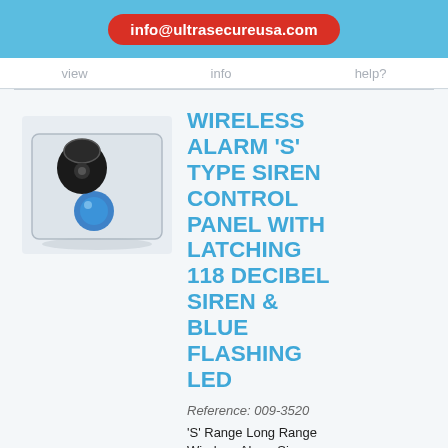info@ultrasecureusa.com
view   info   help?
[Figure (photo): Wireless alarm S-type siren control panel product photo showing a white panel with a black siren horn and a blue flashing LED]
WIRELESS ALARM 'S' TYPE SIREN CONTROL PANEL WITH LATCHING 118 DECIBEL SIREN & BLUE FLASHING LED
Reference: 009-3520
'S' Range Long Range Wireless Alarm Siren